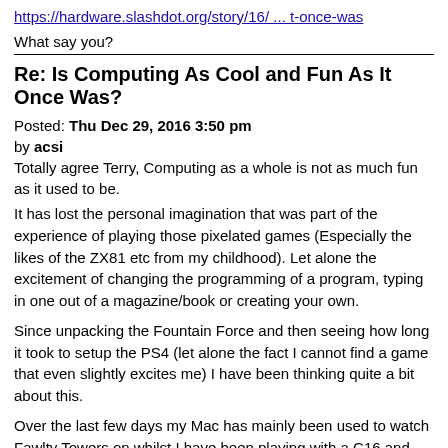https://hardware.slashdot.org/story/16/... t-once-was
What say you?
Re: Is Computing As Cool and Fun As It Once Was?
Posted: Thu Dec 29, 2016 3:50 pm
by acsi
Totally agree Terry, Computing as a whole is not as much fun as it used to be.
It has lost the personal imagination that was part of the experience of playing those pixelated games (Especially the likes of the ZX81 etc from my childhood). Let alone the excitement of changing the programming of a program, typing in one out of a magazine/book or creating your own.
Since unpacking the Fountain Force and then seeing how long it took to setup the PS4 (let alone the fact I cannot find a game that even slightly excites me) I have been thinking quite a bit about this.
Over the last few days my Mac has mainly been used to watch Fawlty Towers on whilst I have been playing with a C16 and fixing